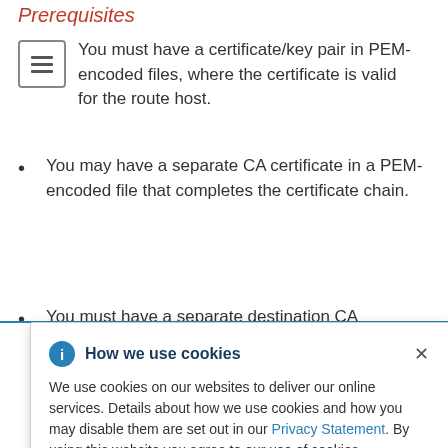Prerequisites
You must have a certificate/key pair in PEM-encoded files, where the certificate is valid for the route host.
You may have a separate CA certificate in a PEM-encoded file that completes the certificate chain.
You must have a separate destination CA
[Figure (screenshot): Cookie consent popup overlay with title 'How we use cookies', info icon, close button X, and body text about cookie usage with a Privacy Statement link.]